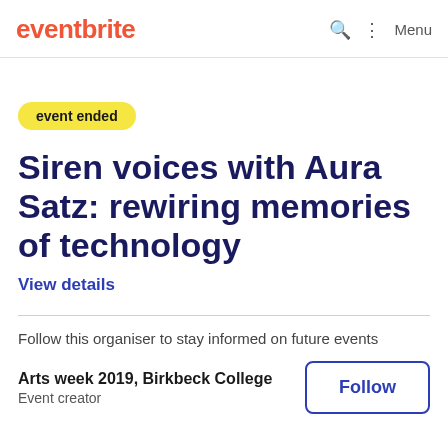eventbrite
event ended
Siren voices with Aura Satz: rewiring memories of technology
View details
Follow this organiser to stay informed on future events
Arts week 2019, Birkbeck College
Event creator
Follow